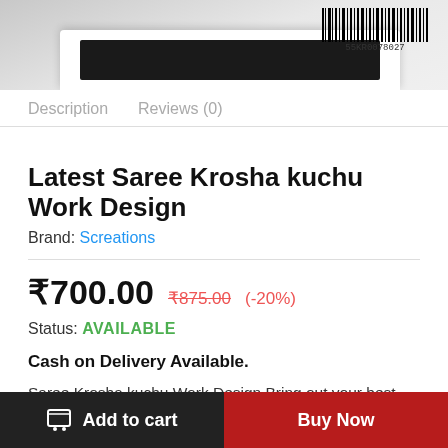[Figure (photo): Product image of Saree Krosha kuchu Work Design with barcode 55KR0078027 visible in top right]
Description   Reviews (0)
Latest Saree Krosha kuchu Work Design
Brand: Screations
₹700.00  ₹875.00  (-20%)
Status: AVAILABLE
Cash on Delivery Available.
Saree Krosha kuchu Work Design Bring out your best side with this
Add to cart   Buy Now